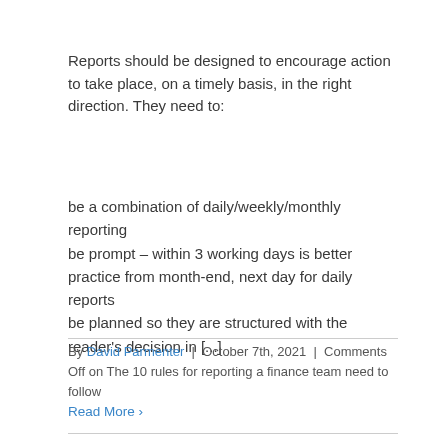Reports should be designed to encourage action to take place, on a timely basis, in the right direction. They need to:
be a combination of daily/weekly/monthly reporting
be prompt – within 3 working days is better practice from month-end, next day for daily reports
be planned so they are structured with the reader's decision in [...]
By David Parmenter | October 7th, 2021 | Comments Off on The 10 rules for reporting a finance team need to follow
Read More ›